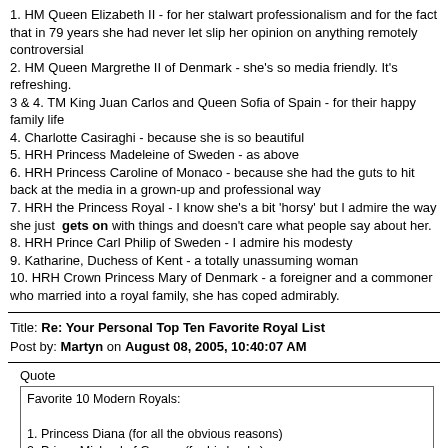1. HM Queen Elizabeth II - for her stalwart professionalism and for the fact that in 79 years she had never let slip her opinion on anything remotely controversial
2. HM Queen Margrethe II of Denmark - she's so media friendly. It's refreshing.
3 & 4. TM King Juan Carlos and Queen Sofia of Spain - for their happy family life
4. Charlotte Casiraghi - because she is so beautiful
5. HRH Princess Madeleine of Sweden - as above
6. HRH Princess Caroline of Monaco - because she had the guts to hit back at the media in a grown-up and professional way
7. HRH the Princess Royal - I know she's a bit 'horsy' but I admire the way she just gets on with things and doesn't care what people say about her.
8. HRH Prince Carl Philip of Sweden - I admire his modesty
9. Katharine, Duchess of Kent - a totally unassuming woman
10. HRH Crown Princess Mary of Denmark - a foreigner and a commoner who married into a royal family, she has coped admirably.
Title: Re: Your Personal Top Ten Favorite Royal List
Post by: Martyn on August 08, 2005, 10:40:07 AM
Quote
Favorite 10 Modern Royals:

1. Princess Diana (for all the obvious reasons)
2. Prince Michael of Greece (for his books)
3. Dr. Otto von Hapsburg (for his scholarly historical writings)